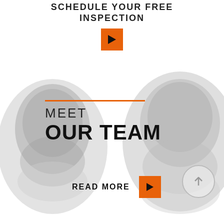SCHEDULE YOUR FREE INSPECTION
[Figure (screenshot): Orange play/arrow button (CTA button for scheduling inspection)]
[Figure (photo): Two men smiling, shown in grayscale/black-and-white, cropped to show faces and upper body, overlapping from left and right sides of the image]
MEET OUR TEAM
READ MORE
[Figure (screenshot): Orange play/arrow button for Read More CTA]
[Figure (screenshot): Circle button with upward arrow icon]